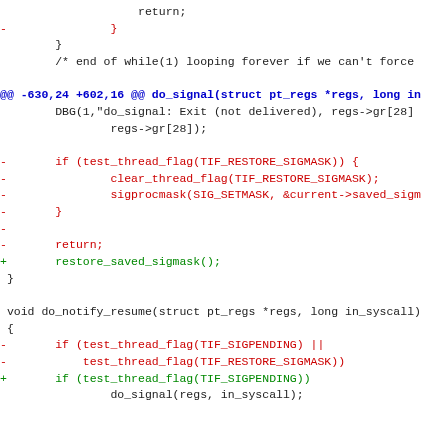Code diff showing changes to signal handling in Linux kernel, including do_signal and do_notify_resume functions